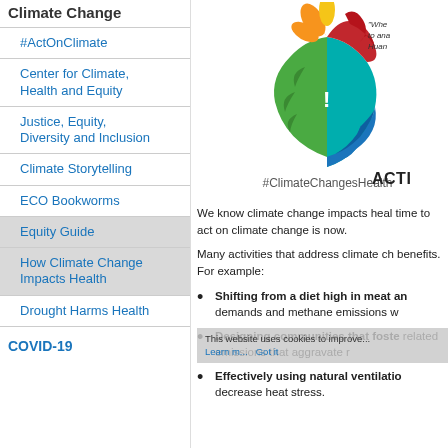Climate Change
#ActOnClimate
Center for Climate, Health and Equity
Justice, Equity, Diversity and Inclusion
Climate Storytelling
ECO Bookworms
Equity Guide
How Climate Change Impacts Health
Drought Harms Health
COVID-19
[Figure (logo): Climate Changes Health logo - a teardrop/brain shape with colorful sections (green leaves, orange sun, red flame, teal water, blue wave) with hashtag #ClimateChangesHealth below]
"Whe to ana Huan
ACTI
We know climate change impacts heal time to act on climate change is now.
Many activities that address climate ch benefits. For example:
Shifting from a diet high in meat an demands and methane emissions w
Designing communities that foste related emissions that aggravate r
Effectively using natural ventilatio decrease heat stress.